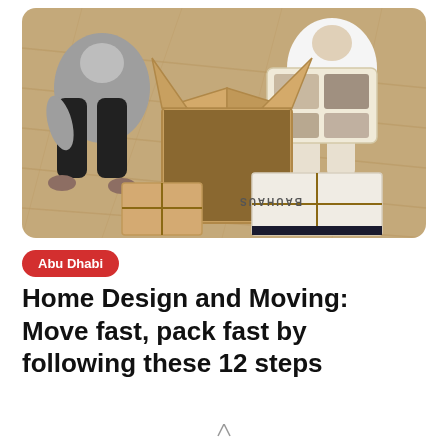[Figure (photo): Overhead view of two people sitting on a wooden floor surrounded by open cardboard moving boxes and wrapped packages. One person holds an open photo album.]
Abu Dhabi
Home Design and Moving: Move fast, pack fast by following these 12 steps